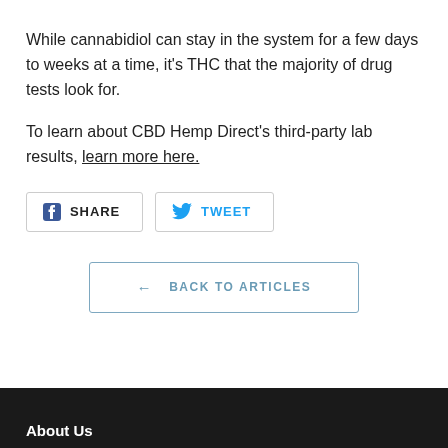While cannabidiol can stay in the system for a few days to weeks at a time, it’s THC that the majority of drug tests look for.
To learn about CBD Hemp Direct's third-party lab results, learn more here.
SHARE  TWEET
← BACK TO ARTICLES
About Us